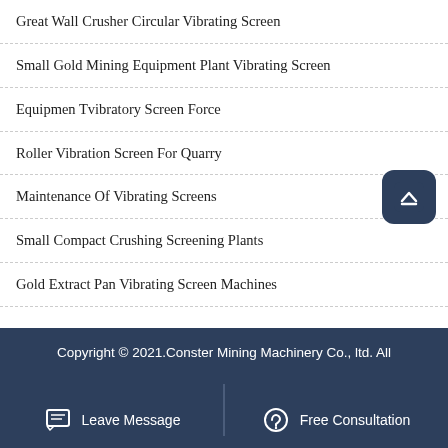Great Wall Crusher Circular Vibrating Screen
Small Gold Mining Equipment Plant Vibrating Screen
Equipmen Tvibratory Screen Force
Roller Vibration Screen For Quarry
Maintenance Of Vibrating Screens
Small Compact Crushing Screening Plants
Gold Extract Pan Vibrating Screen Machines
Copyright © 2021.Conster Mining Machinery Co., ltd. All
Leave Message   Free Consultation